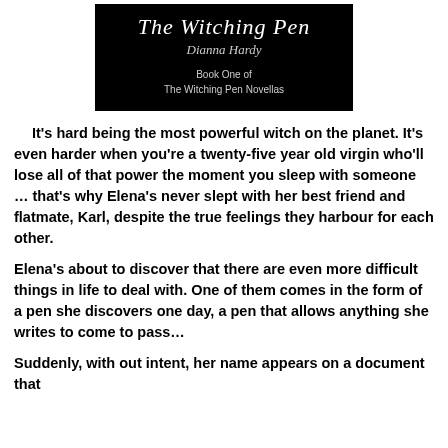[Figure (illustration): Book cover image with black background showing 'The Witching Pen' in italic script, author name 'Dianna Hardy' in italic script below, then 'Book One of The Witching Pen Novellas' in smaller serif text.]
It's hard being the most powerful witch on the planet. It's even harder when you're a twenty-five year old virgin who'll lose all of that power the moment you sleep with someone … that's why Elena's never slept with her best friend and flatmate, Karl, despite the true feelings they harbour for each other.
Elena's about to discover that there are even more difficult things in life to deal with. One of them comes in the form of a pen she discovers one day, a pen that allows anything she writes to come to pass…
Suddenly, without intent, her name appears on a document that...